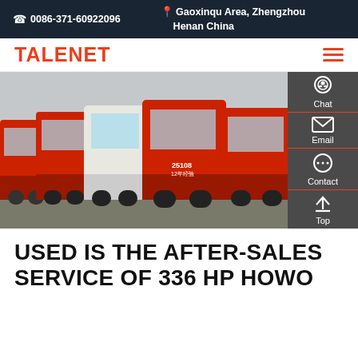0086-371-60922096 | Gaoxinqu Area, Zhengzhou Henan China
TALENET
[Figure (photo): Row of red and white heavy trucks (HOWO type) parked in a lot, viewed from the front-left angle. A side panel with Chat, Email, Contact, and Top buttons is overlaid on the right.]
USED IS THE AFTER-SALES SERVICE OF 336 HP HOWO